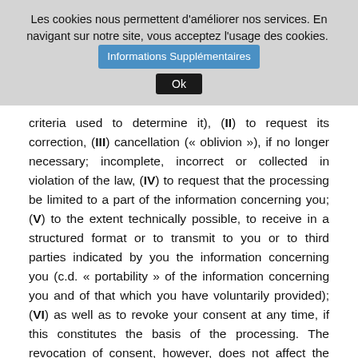Les cookies nous permettent d'améliorer nos services. En navigant sur notre site, vous acceptez l'usage des cookies. [Informations Supplémentaires] [Ok]
criteria used to determine it), (II) to request its correction, (III) cancellation (« oblivion »), if no longer necessary; incomplete, incorrect or collected in violation of the law, (IV) to request that the processing be limited to a part of the information concerning you; (V) to the extent technically possible, to receive in a structured format or to transmit to you or to third parties indicated by you the information concerning you (c.d. « portability » of the information concerning you and of that which you have voluntarily provided); (VI) as well as to revoke your consent at any time, if this constitutes the basis of the processing. The revocation of consent, however, does not affect the lawfulness of the processing based on the consent given before the revocation itself. You also have the right to object to the processing of your